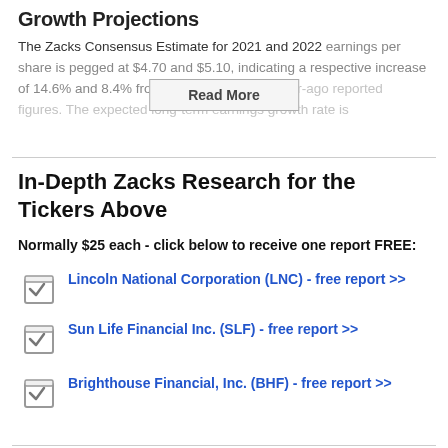Growth Projections
The Zacks Consensus Estimate for 2021 and 2022 earnings per share is pegged at $4.70 and $5.10, indicating a respective increase of 14.6% and 8.4% from the corresponding year-ago reported figures. The expected long-term earnings growth rate is
Read More
In-Depth Zacks Research for the Tickers Above
Normally $25 each - click below to receive one report FREE:
Lincoln National Corporation (LNC) - free report >>
Sun Life Financial Inc. (SLF) - free report >>
Brighthouse Financial, Inc. (BHF) - free report >>